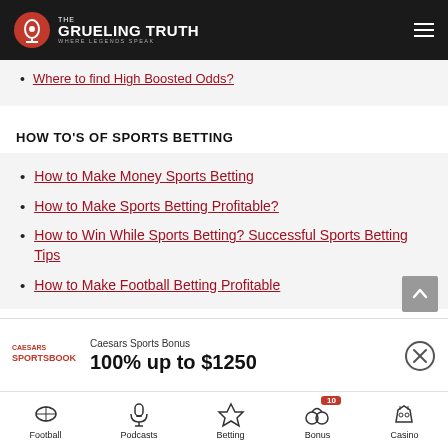The Grueling Truth - Where Legends Speak
Where to find High Boosted Odds?
HOW TO'S OF SPORTS BETTING
How to Make Money Sports Betting
How to Make Sports Betting Profitable?
How to Win While Sports Betting? Successful Sports Betting Tips
How to Make Football Betting Profitable
Caesars Sports Bonus
100% up to $1250
Football | Podcasts | Betting | Bonus 10 | Casino